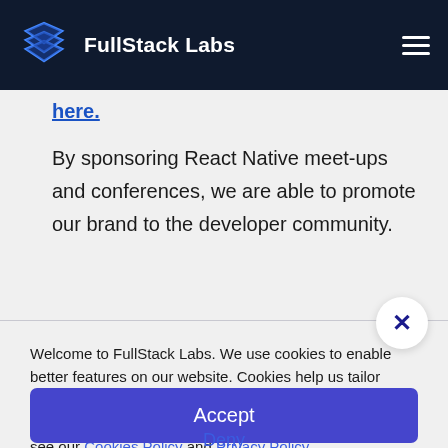FullStack Labs
here.
By sponsoring React Native meet-ups and conferences, we are able to promote our brand to the developer community.
Welcome to FullStack Labs. We use cookies to enable better features on our website. Cookies help us tailor content to your interests and locations and provide many other benefits of the site. For more information, please see our Cookies Policy and Privacy Policy.
Accept
Deny